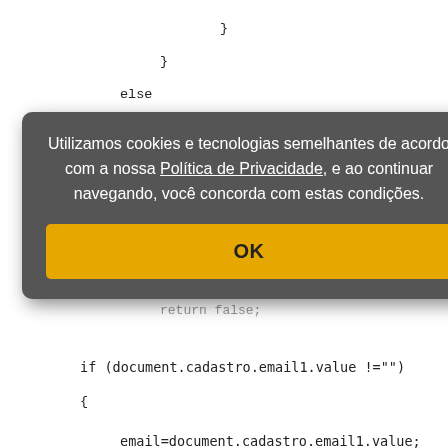}
}
else
{
[Figure (screenshot): Cookie consent modal dialog with dark gray background showing Portuguese text: 'Utilizamos cookies e tecnologias semelhantes de acordo com a nossa Política de Privacidade, e ao continuar navegando, você concorda com estas condições.' with an OK button in yellow/gold color.]
if (document.cadastro.email1.value !="")
{
email=document.cadastro.email1.value;
if (email.indexOf("@",0) == -1)
{